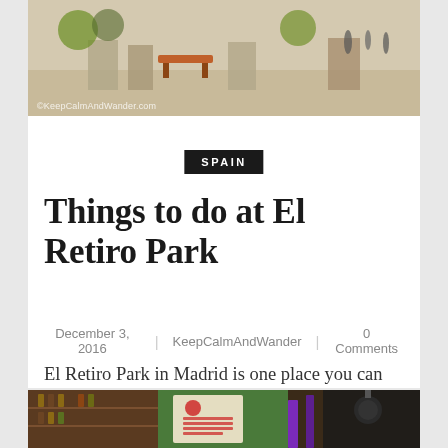[Figure (photo): Outdoor plaza or park area with benches and stone elements, sunny day]
©KeepCalmAndWander.com
SPAIN
Things to do at El Retiro Park
December 3, 2016  |  KeepCalmAndWander  |  0 Comments
El Retiro Park in Madrid is one place you can go when the summer heat is too much to bear. It's a pleasant place to escape from all the academic shit I had last summer. The park has vast greenery and cool shades everywhere. But, I think the best way
[Figure (photo): Interior of a cafe or bar with shelves, colorful decorations and pendant lights]